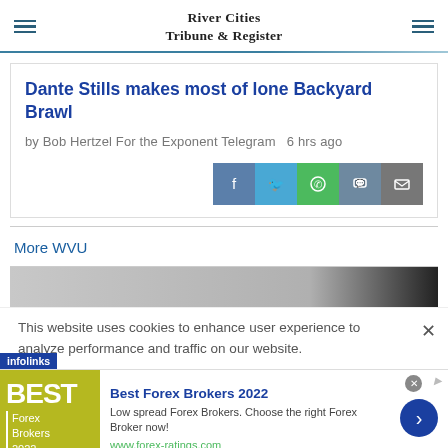River Cities Tribune & Register
Dante Stills makes most of lone Backyard Brawl
by Bob Hertzel For the Exponent Telegram  6 hrs ago
[Figure (other): Social share buttons: Facebook, Twitter, WhatsApp, Chat, Email]
More WVU
[Figure (photo): Partial image strip visible beneath More WVU heading]
This website uses cookies to enhance user experience to analyze performance and traffic on our website.
[Figure (infographic): Advertisement: Best Forex Brokers 2022. Low spread Forex Brokers. Choose the right Forex Broker now! www.forex-ratings.com]